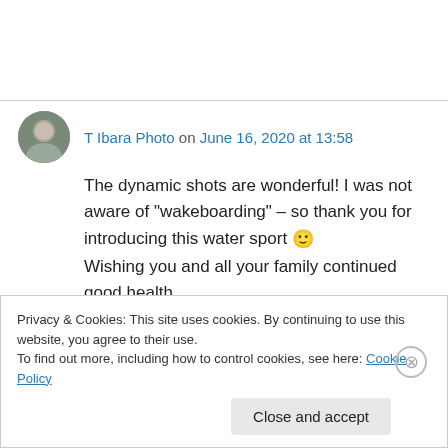T Ibara Photo on June 16, 2020 at 13:58
The dynamic shots are wonderful! I was not aware of "wakeboarding" – so thank you for introducing this water sport 🙂 Wishing you and all your family continued good health.
Privacy & Cookies: This site uses cookies. By continuing to use this website, you agree to their use. To find out more, including how to control cookies, see here: Cookie Policy